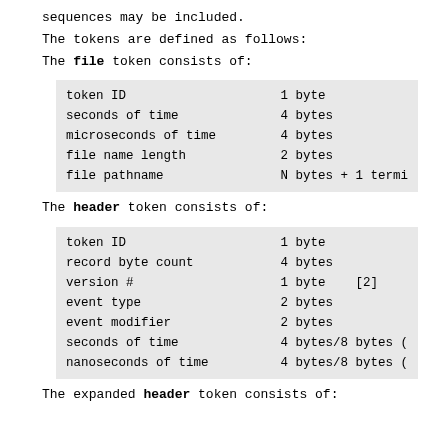sequences may be included.
The tokens are defined as follows:
The file token consists of:
| token ID | 1 byte |
| seconds of time | 4 bytes |
| microseconds of time | 4 bytes |
| file name length | 2 bytes |
| file pathname | N bytes + 1 termi |
The header token consists of:
| token ID | 1 byte |
| record byte count | 4 bytes |
| version # | 1 byte    [2] |
| event type | 2 bytes |
| event modifier | 2 bytes |
| seconds of time | 4 bytes/8 bytes ( |
| nanoseconds of time | 4 bytes/8 bytes ( |
The expanded header token consists of: